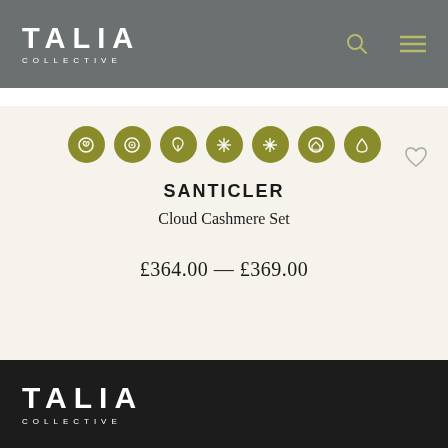TALIA COLLECTIVE
[Figure (logo): Talia Collective logo in white on grey header bar]
[Figure (infographic): Seven circular olive/gold badges with sustainability/product icons]
SANTICLER
Cloud Cashmere Set
£364.00 — £369.00
TALIA COLLECTIVE